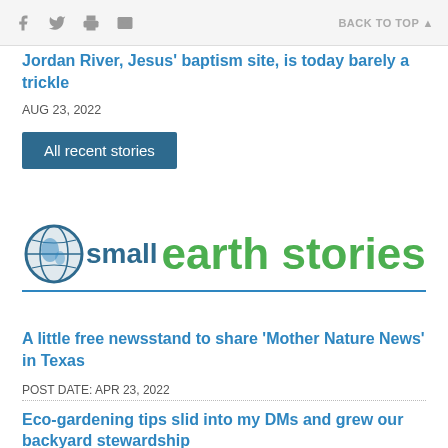f [twitter] [print] [email]   BACK TO TOP ▲
Jordan River, Jesus' baptism site, is today barely a trickle
AUG 23, 2022
All recent stories
[Figure (logo): Small Earth Stories logo with globe icon, 'small' in dark blue and 'earth stories' in green, underlined in blue]
A little free newsstand to share 'Mother Nature News' in Texas
POST DATE: APR 23, 2022
Eco-gardening tips slid into my DMs and grew our backyard stewardship